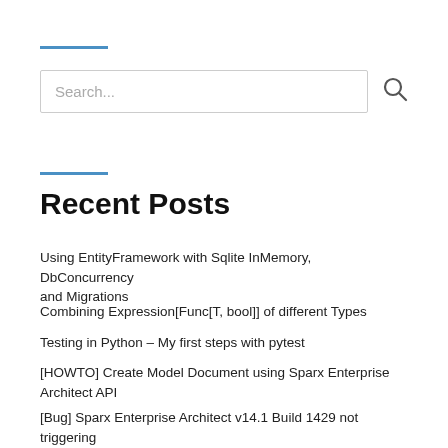[Figure (other): Short blue horizontal rule divider]
[Figure (other): Search input box with search icon]
[Figure (other): Short blue horizontal rule divider]
Recent Posts
Using EntityFramework with Sqlite InMemory, DbConcurrency and Migrations
Combining Expression[Func[T, bool]] of different Types
Testing in Python – My first steps with pytest
[HOWTO] Create Model Document using Sparx Enterprise Architect API
[Bug] Sparx Enterprise Architect v14.1 Build 1429 not triggering EA_OnPostCloseDiagram event in context of Time Aware Modelling